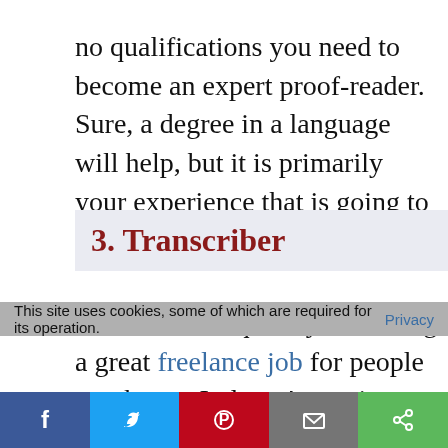no qualifications you need to become an expert proof-reader. Sure, a degree in a language will help, but it is primarily your experience that is going to play the key role.
3. Transcriber
Transcriber is quickly becoming a great freelance job for people to take up. It doesn't require much from you. You need to listen to an audio and then type it out. The only drawback is that you need to listen to the audio file carefully. It
This site uses cookies, some of which are required for its operation. Privacy